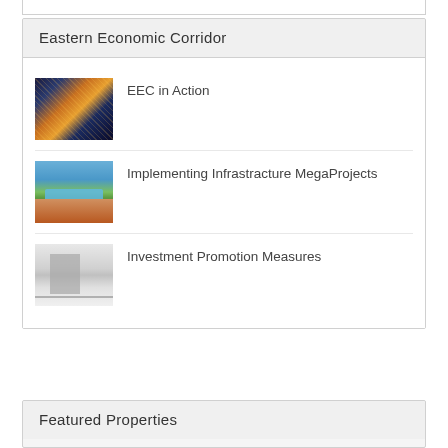Eastern Economic Corridor
[Figure (photo): Aerial night view of a port city with orange lights and waterways]
EEC in Action
[Figure (photo): Outdoor infinity pool at a resort on a hillside with trees and orange loungers]
Implementing Infrastracture MegaProjects
[Figure (photo): Modern interior kitchen with white surfaces and bar stools]
Investment Promotion Measures
Featured Properties